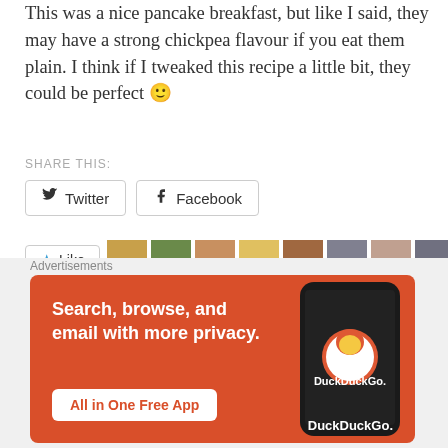This was a nice pancake breakfast, but like I said, they may have a strong chickpea flavour if you eat them plain. I think if I tweaked this recipe a little bit, they could be perfect 🙂
SHARE THIS:
[Figure (screenshot): Twitter and Facebook share buttons]
[Figure (screenshot): Like button with star icon and blogger avatar thumbnails]
18 bloggers like this.
RELATED
[Figure (screenshot): DuckDuckGo advertisement banner: Search, browse, and email with more privacy. All in One Free App. Shows phone with DuckDuckGo logo.]